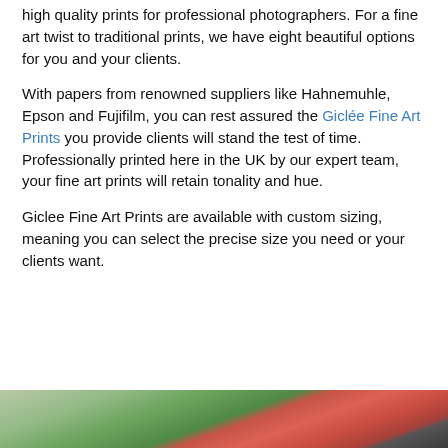high quality prints for professional photographers. For a fine art twist to traditional prints, we have eight beautiful options for you and your clients.
With papers from renowned suppliers like Hahnemuhle, Epson and Fujifilm, you can rest assured the Giclée Fine Art Prints you provide clients will stand the test of time. Professionally printed here in the UK by our expert team, your fine art prints will retain tonality and hue.
Giclee Fine Art Prints are available with custom sizing, meaning you can select the precise size you need or your clients want.
[Figure (photo): Partial bottom strip of a photo showing colorful print products (greens and reds visible), partially cropped at page bottom]